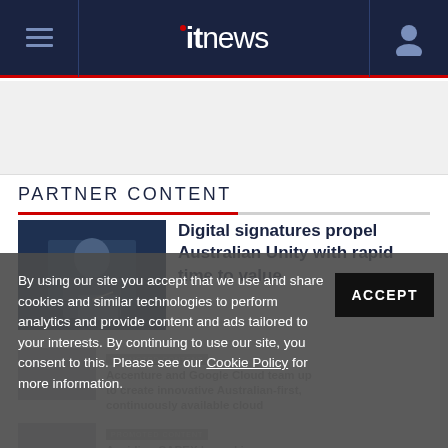itnews
PARTNER CONTENT
[Figure (photo): Man in dark suit holding a pen over a tablet device]
Digital signatures propel Australian Unity with rapid time to value
By using our site you accept that we use and share cookies and similar technologies to perform analytics and provide content and ads tailored to your interests. By continuing to use our site, you consent to this. Please see our Cookie Policy for more information.
Accenture and Google Cloud team up to create innovative Australian-first, continuously available cloud
Avoiding CAPEX by making on-